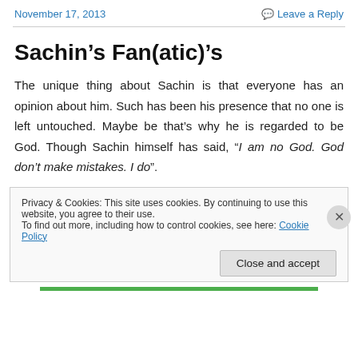November 17, 2013    Leave a Reply
Sachin’s Fan(atic)’s
The unique thing about Sachin is that everyone has an opinion about him. Such has been his presence that no one is left untouched. Maybe be that’s why he is regarded to be God. Though Sachin himself has said, “I am no God. God don’t make mistakes. I do”.
Privacy & Cookies: This site uses cookies. By continuing to use this website, you agree to their use.
To find out more, including how to control cookies, see here: Cookie Policy
Close and accept